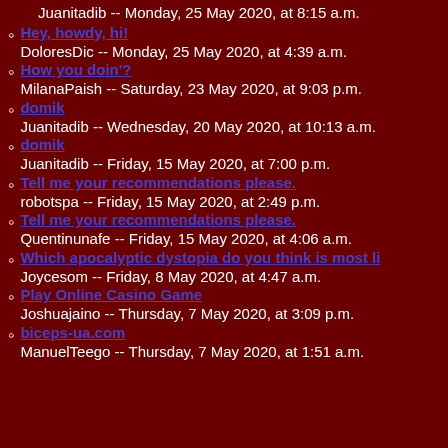Juanitadib -- Monday, 25 May 2020, at 8:15 a.m.
Hey, howdy, hi!
DoloresDic -- Monday, 25 May 2020, at 4:39 a.m.
How you doin'?
MilanaPaish -- Saturday, 23 May 2020, at 9:03 p.m.
domik
Juanitadib -- Wednesday, 20 May 2020, at 10:13 a.m.
domik
Juanitadib -- Friday, 15 May 2020, at 7:00 p.m.
Tell me your recommendations please.
robotspa -- Friday, 15 May 2020, at 2:49 p.m.
Tell me your recommendations please.
Quentinunafe -- Friday, 15 May 2020, at 4:06 a.m.
Which apocalyptic dystopia do you think is most li
Joycesom -- Friday, 8 May 2020, at 4:47 a.m.
Play Online Casino Game
Joshuajaino -- Thursday, 7 May 2020, at 3:09 p.m.
biceps-ua.com
ManuelTeego -- Thursday, 7 May 2020, at 1:51 a.m.